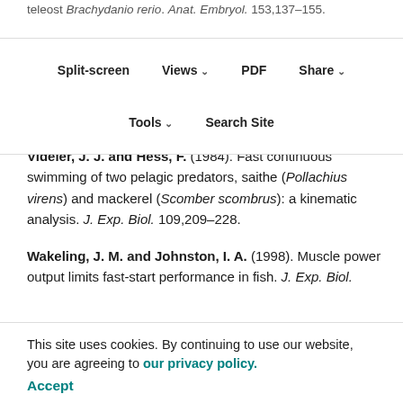teleost Brachydanio rerio. Anat. Embryol. 153,137–155.
Split-screen | Views | PDF | Share | Tools | Search Site
Videler, J. J. (1993). Fish Swimming. London: Chapman and Hall.
Videler, J. J. and Hess, F. (1984). Fast continuous swimming of two pelagic predators, saithe (Pollachius virens) and mackerel (Scomber scombrus): a kinematic analysis. J. Exp. Biol. 109,209–228.
Wakeling, J. M. and Johnston, I. A. (1998). Muscle power output limits fast-start performance in fish. J. Exp. Biol. 201,1505–1526.
Wakeling, J. M., Kemp, K. M. and Johnston, I. A.(1999). The biomechanics of fast-starts during ontogeny in the common carp Cyprinus carpio. J. Exp. Biol. 202,3057–
This site uses cookies. By continuing to use our website, you are agreeing to our privacy policy. Accept
Wassersug, R. J. and von Seckendorf Hoff, K.(1985). The kinematics of swimming in anuran larvae. J. Exp. Biol.